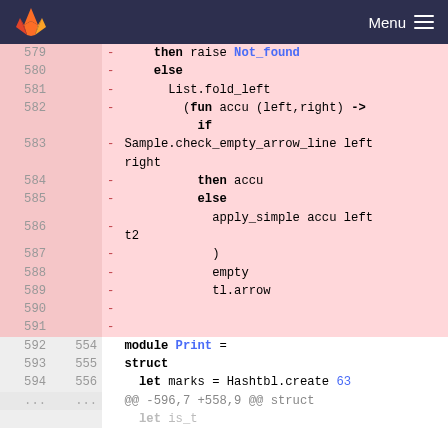Menu
[Figure (screenshot): GitLab code diff view showing OCaml source code lines 579-594+, with deleted lines (pink background) and unchanged lines. Lines 579-591 are deleted (marked with -), lines 592-594 and ... are context lines showing module Print = struct let marks = Hashtbl.create 63 and a diff hunk header @@ -596,7 +558,9 @@ struct]
579   -     then raise Not_found
580   -     else
581   -       List.fold_left
582   -         (fun accu (left,right) ->
583   -           if
Sample.check_empty_arrow_line left
right
584   -           then accu
585   -           else
586   -             apply_simple accu left
t2
587   -           )
588   -           empty
589   -           tl.arrow
590   -
591   -
592 554   module Print =
593 555   struct
594 556     let marks = Hashtbl.create 63
...  ...  @@ -596,7 +558,9 @@ struct